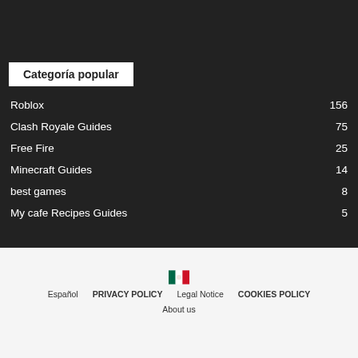Categoría popular
Roblox 156
Clash Royale Guides 75
Free Fire 25
Minecraft Guides 14
best games 8
My cafe Recipes Guides 5
Español  PRIVACY POLICY  Legal Notice  COOKIES POLICY  About us